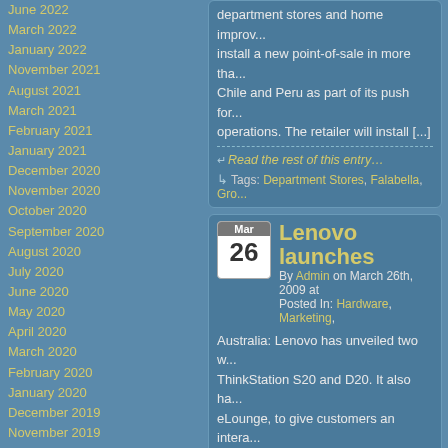June 2022
March 2022
January 2022
November 2021
August 2021
March 2021
February 2021
January 2021
December 2020
November 2020
October 2020
September 2020
August 2020
July 2020
June 2020
May 2020
April 2020
March 2020
February 2020
January 2020
December 2019
November 2019
October 2019
September 2019
August 2019
July 2019
June 2019
May 2019
April 2019
March 2019
February 2019
January 2019
department stores and home improv... install a new point-of-sale in more tha... Chile and Peru as part of its push for... operations. The retailer will install [...]
Read the rest of this entry…
Tags: Department Stores, Falabella, Gro...
Lenovo launches
By Admin on March 26th, 2009 at Posted In: Hardware, Marketing,
Australia: Lenovo has unveiled two w... ThinkStation S20 and D20. It also ha... eLounge, to give customers an intera... online. "Designers, engineers, develo... computing performance to help them... Matthew Steele director, Server and
Read the rest of this entry…
Tags: E-Commerce .,, Lenovo, Lenovo el... S20